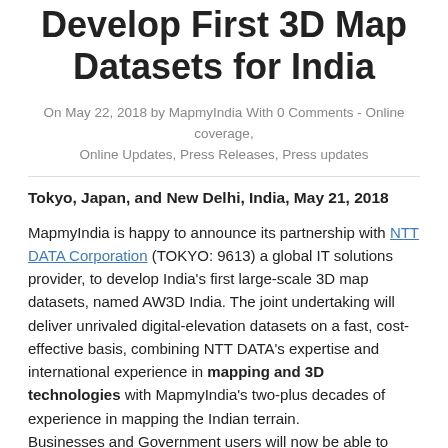Develop First 3D Map Datasets for India
On May 22, 2018 by MapmyIndia With 0 Comments - Online coverage, Online Updates, Press Releases, Press updates
Tokyo, Japan, and New Delhi, India, May 21, 2018
MapmyIndia is happy to announce its partnership with NTT DATA Corporation (TOKYO: 9613) a global IT solutions provider, to develop India's first large-scale 3D map datasets, named AW3D India. The joint undertaking will deliver unrivaled digital-elevation datasets on a fast, cost-effective basis, combining NTT DATA's expertise and international experience in mapping and 3D technologies with MapmyIndia's two-plus decades of experience in mapping the Indian terrain.
Businesses and Government users will now be able to better leverage on the most accurate and comprehensive 3D maps of the country, which would make them even more competitive in domestic and international markets. These maps will also help the Indian government and its agencies to better plan and